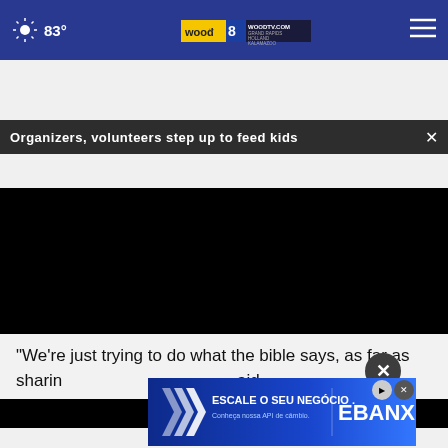[Figure (screenshot): Website navigation bar with weather (sunny, 83°), WOOD TV8 logo (WOODTV.COM, GRAND RAPIDS, HOLLAND, KALAMAZOO), and hamburger menu icon on blue background]
Organizers, volunteers step up to feed kids
[Figure (photo): Black video player area (content not visible)]
“We’re just trying to do what the bible says, as far as sharin [sharing]... aid.
[Figure (other): EBANX advertisement overlay: ESCALE O SEU NEGÓCIO. Conheça nossa API de câmbio. With blue chevron design.]